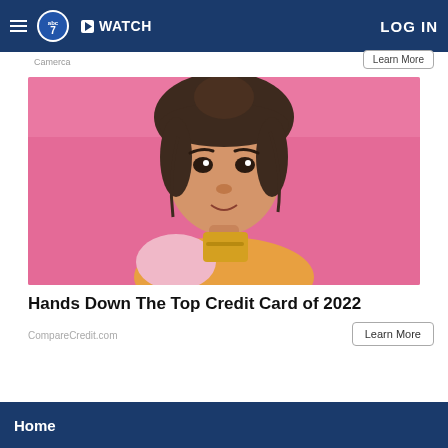abc7 | WATCH | LOG IN
Camerca
Learn More
[Figure (photo): Woman with dark hair pulled up, bangs, holding a gold credit card near her face against a bright pink background, wearing a pink and orange top.]
Hands Down The Top Credit Card of 2022
CompareCredit.com
Learn More
Home